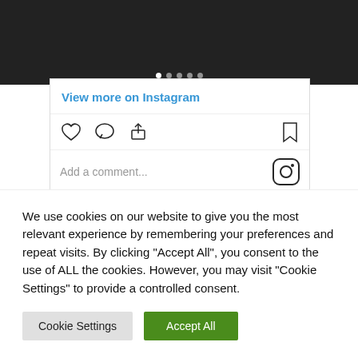[Figure (screenshot): Top portion of Instagram post showing a dark image with pagination dots overlay]
View more on Instagram
[Figure (screenshot): Instagram action bar with heart, comment, share icons on the left and bookmark icon on the right]
[Figure (screenshot): Instagram comment input bar with placeholder text 'Add a comment...' and Instagram logo icon]
When no longer torching energy and development muscle tissues within the health club, The Rock loves to have his French toast in at least connoisseur style, which appears
We use cookies on our website to give you the most relevant experience by remembering your preferences and repeat visits. By clicking "Accept All", you consent to the use of ALL the cookies. However, you may visit "Cookie Settings" to provide a controlled consent.